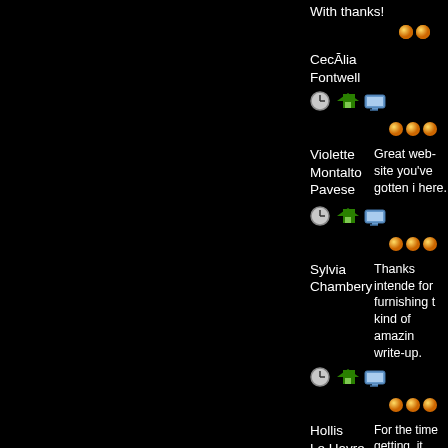With thanks!
[Figure (other): Orange dots decoration]
CecÄlia Fontwell
[Figure (other): Clock, house, and monitor icons]
[Figure (other): Orange dots decoration]
Violette Montalto Pavese
Great web-site you've gotten i here.
[Figure (other): Clock, house, and monitor icons]
[Figure (other): Orange dots decoration]
Sylvia Chambery
Thanks intende for furnishing t kind of amazin write-up.
[Figure (other): Clock, house, and monitor icons]
[Figure (other): Orange dots decoration]
Hollis Le Havre
For the time getting, it rema a phenomenon certain to the backwaters of South African politics â€" our councils and, occasionally, th provinces
[Figure (other): Clock, house, and monitor icons]